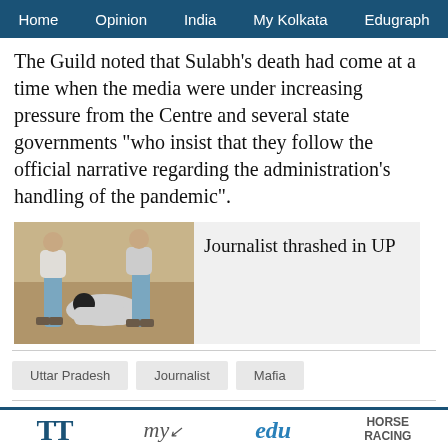Home  Opinion  India  My Kolkata  Edugraph
The Guild noted that Sulabh’s death had come at a time when the media were under increasing pressure from the Centre and several state governments “who insist that they follow the official narrative regarding the administration’s handling of the pandemic”.
[Figure (photo): A person being beaten/assaulted on the ground with two people standing over them outdoors]
Journalist thrashed in UP
Uttar Pradesh   Journalist   Mafia
Share
TT  my  edu  HORSE RACING